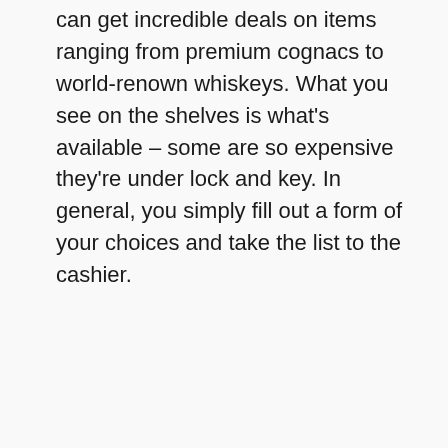can get incredible deals on items ranging from premium cognacs to world-renown whiskeys. What you see on the shelves is what's available – some are so expensive they're under lock and key. In general, you simply fill out a form of your choices and take the list to the cashier.